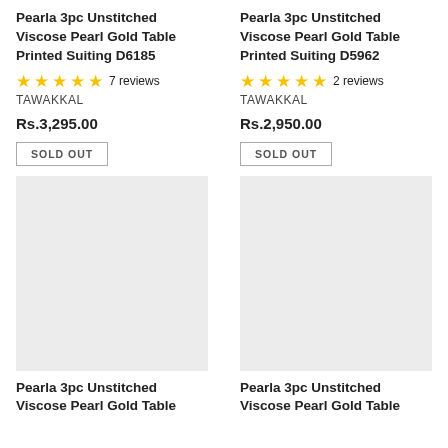Pearla 3pc Unstitched Viscose Pearl Gold Table Printed Suiting D6185
★★★★★ 7 reviews
TAWAKKAL
Rs.3,295.00
SOLD OUT
Pearla 3pc Unstitched Viscose Pearl Gold Table Printed Suiting D5962
★★★★★ 2 reviews
TAWAKKAL
Rs.2,950.00
SOLD OUT
[Figure (photo): Product image placeholder (light gray background) for Pearla 3pc Unstitched Viscose Pearl Gold Table Printed Suiting]
[Figure (photo): Product image placeholder (light gray background) for Pearla 3pc Unstitched Viscose Pearl Gold Table Printed Suiting]
Pearla 3pc Unstitched Viscose Pearl Gold Table
Pearla 3pc Unstitched Viscose Pearl Gold Table